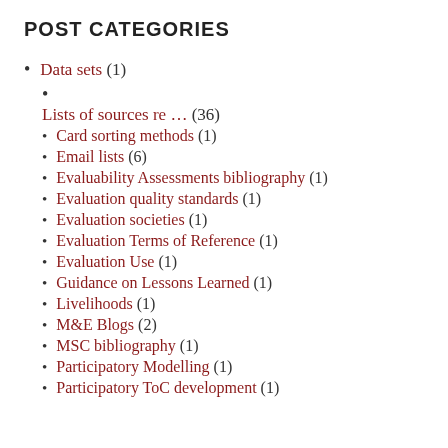POST CATEGORIES
Data sets (1)
Lists of sources re ... (36)
Card sorting methods (1)
Email lists (6)
Evaluability Assessments bibliography (1)
Evaluation quality standards (1)
Evaluation societies (1)
Evaluation Terms of Reference (1)
Evaluation Use (1)
Guidance on Lessons Learned (1)
Livelihoods (1)
M&E Blogs (2)
MSC bibliography (1)
Participatory Modelling (1)
Participatory ToC development (1)